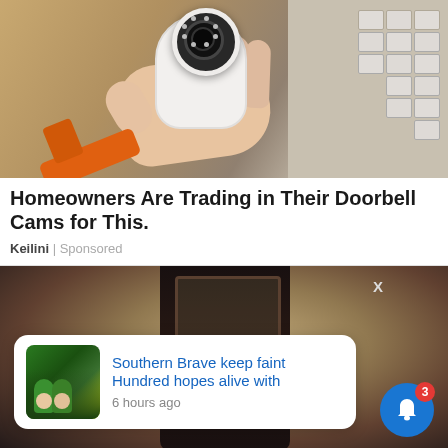[Figure (photo): A hand holding a white PTZ/dome security camera, with an orange power drill visible at lower left and cardboard boxes with foam packaging in the background]
Homeowners Are Trading in Their Doorbell Cams for This.
Keilini | Sponsored
[Figure (photo): A doorbell camera mounted on a textured stone/stucco wall next to a decorative outdoor lantern, with a notification popup overlay showing a cricket/sports news story and a blue bell notification button in the bottom right corner]
Southern Brave keep faint Hundred hopes alive with
6 hours ago